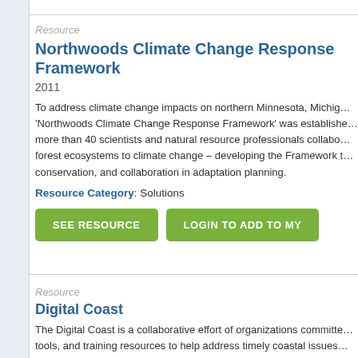Resource
Northwoods Climate Change Response Framework
2011
To address climate change impacts on northern Minnesota, Michigan, 'Northwoods Climate Change Response Framework' was established — more than 40 scientists and natural resource professionals collaborated on forest ecosystems to climate change – developing the Framework to conservation, and collaboration in adaptation planning.
Resource Category: Solutions
SEE RESOURCE
LOGIN TO ADD TO MY
Resource
Digital Coast
The Digital Coast is a collaborative effort of organizations committed tools, and training resources to help address timely coastal issues conservation, hazards, marine spatial planning, and climate change.